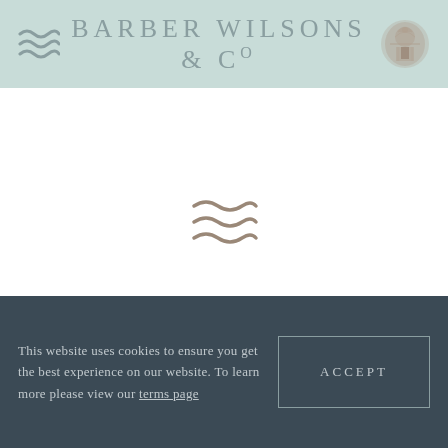BARBER WILSONS & CO
[Figure (logo): Three wavy lines logo and BARBER WILSONS & CO text with royal crest emblem on light teal background]
[Figure (logo): Three wavy lines decorative symbol centered in white space]
This website uses cookies to ensure you get the best experience on our website. To learn more please view our terms page
ACCEPT